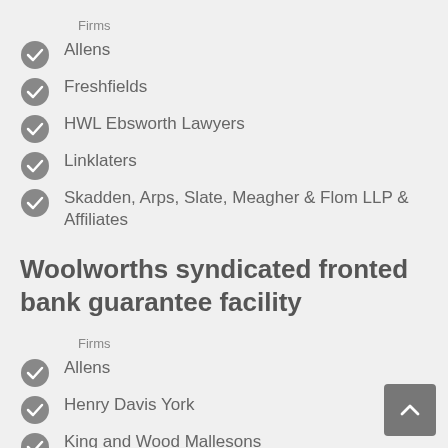Firms
Allens
Freshfields
HWL Ebsworth Lawyers
Linklaters
Skadden, Arps, Slate, Meagher & Flom LLP & Affiliates
Woolworths syndicated fronted bank guarantee facility
Firms
Allens
Henry Davis York
King and Wood Mallesons